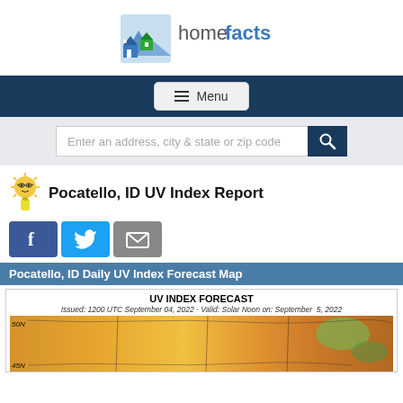[Figure (logo): Homefacts logo with house icon and 'homefacts' text in blue and gray]
[Figure (screenshot): Navigation menu button with hamburger icon and 'Menu' label on dark blue bar]
[Figure (screenshot): Search bar with text 'Enter an address, city & state or zip code' and dark blue search button]
Pocatello, ID UV Index Report
[Figure (screenshot): Social media share buttons: Facebook (blue), Twitter (light blue), and Email (gray)]
Pocatello, ID Daily UV Index Forecast Map
[Figure (map): UV Index Forecast map. Issued: 1200 UTC September 04, 2022 - Valid: Solar Noon on: September 5, 2022. Map showing UV index levels across the western US, with warm orange and yellow colors indicating high UV levels. Latitude labels 50N and 45N visible.]